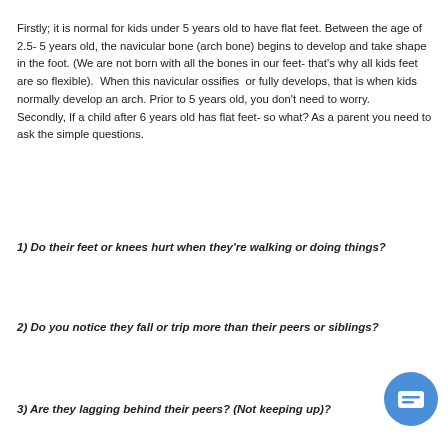Firstly; it is normal for kids under 5 years old to have flat feet. Between the age of 2.5- 5 years old, the navicular bone (arch bone) begins to develop and take shape in the foot. (We are not born with all the bones in our feet- that's why all kids feet are so flexible).  When this navicular ossifies  or fully develops, that is when kids normally develop an arch. Prior to 5 years old, you don't need to worry. Secondly, If a child after 6 years old has flat feet- so what? As a parent you need to ask the simple questions.
1) Do their feet or knees hurt when they're walking or doing things?
2) Do you notice they fall or trip more than their peers or siblings?
3) Are they lagging behind their peers? (Not keeping up)?